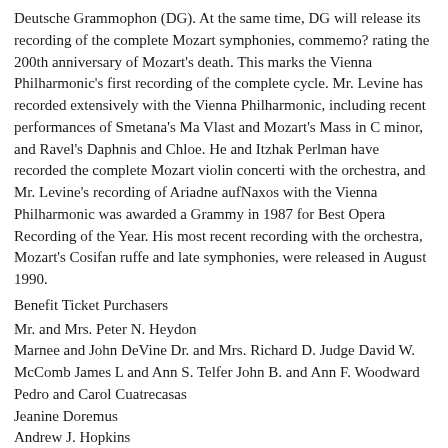Deutsche Grammophon (DG). At the same time, DG will release its recording of the complete Mozart symphonies, commemo? rating the 200th anniversary of Mozart's death. This marks the Vienna Philharmonic's first recording of the complete cycle. Mr. Levine has recorded extensively with the Vienna Philharmonic, including recent performances of Smetana's Ma Vlast and Mozart's Mass in C minor, and Ravel's Daphnis and Chloe. He and Itzhak Perlman have recorded the complete Mozart violin concerti with the orchestra, and Mr. Levine's recording of Ariadne aufNaxos with the Vienna Philharmonic was awarded a Grammy in 1987 for Best Opera Recording of the Year. His most recent recording with the orchestra, Mozart's Cosifan ruffe and late symphonies, were released in August 1990.
Benefit Ticket Purchasers
Mr. and Mrs. Peter N. Heydon
Marnee and John DeVine Dr. and Mrs. Richard D. Judge David W. McComb James L and Ann S. Telfer John B. and Ann F. Woodward
Pedro and Carol Cuatrecasas
Jeanine Doremus
Andrew J. Hopkins
SunChien and Betty Hsiao